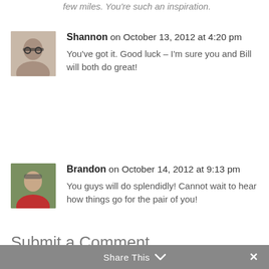few miles. You're such an inspiration.
Shannon on October 13, 2012 at 4:20 pm
You've got it. Good luck – I'm sure you and Bill will both do great!
Brandon on October 14, 2012 at 9:13 pm
You guys will do splendidly! Cannot wait to hear how things go for the pair of you!
Submit a Comment
Your email address will not be published. Required fields are marked *
Share This ∨  ✕